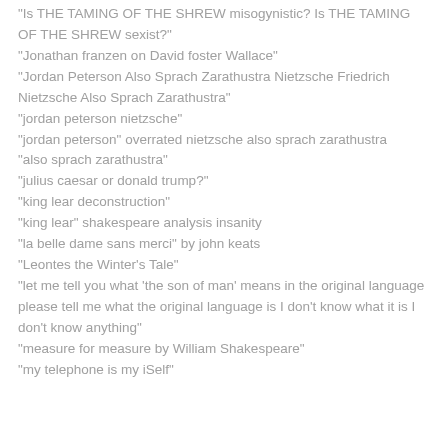"Is THE TAMING OF THE SHREW misogynistic? Is THE TAMING OF THE SHREW sexist?"
"Jonathan franzen on David foster Wallace"
"Jordan Peterson Also Sprach Zarathustra Nietzsche Friedrich Nietzsche Also Sprach Zarathustra"
"jordan peterson nietzsche"
"jordan peterson" overrated nietzsche also sprach zarathustra
"also sprach zarathustra"
"julius caesar or donald trump?"
"king lear deconstruction"
"king lear" shakespeare analysis insanity
"la belle dame sans merci" by john keats
"Leontes the Winter's Tale"
"let me tell you what 'the son of man' means in the original language please tell me what the original language is I don't know what it is I don't know anything"
"measure for measure by William Shakespeare"
"my telephone is my iSelf"